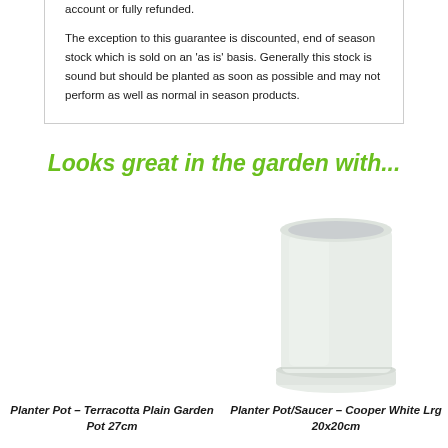account or fully refunded.
The exception to this guarantee is discounted, end of season stock which is sold on an 'as is' basis. Generally this stock is sound but should be planted as soon as possible and may not perform as well as normal in season products.
Looks great in the garden with...
[Figure (photo): Photo placeholder - left product (Planter Pot Terracotta Plain Garden Pot 27cm) - no image visible]
Planter Pot – Terracotta Plain Garden Pot 27cm
[Figure (photo): White ceramic cylindrical planter pot with saucer - Cooper White Lrg 20x20cm]
Planter Pot/Saucer – Cooper White Lrg 20x20cm